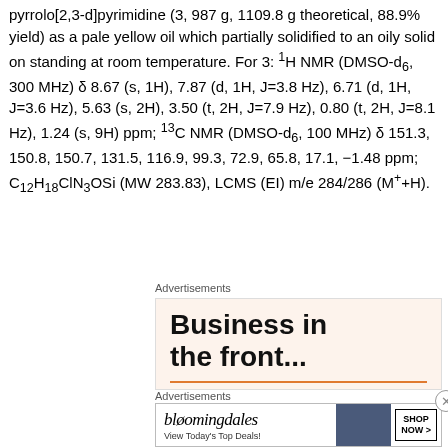pyrrolo[2,3-d]pyrimidine (3, 987 g, 1109.8 g theoretical, 88.9% yield) as a pale yellow oil which partially solidified to an oily solid on standing at room temperature. For 3: 1H NMR (DMSO-d6, 300 MHz) δ 8.67 (s, 1H), 7.87 (d, 1H, J=3.8 Hz), 6.71 (d, 1H, J=3.6 Hz), 5.63 (s, 2H), 3.50 (t, 2H, J=7.9 Hz), 0.80 (t, 2H, J=8.1 Hz), 1.24 (s, 9H) ppm; 13C NMR (DMSO-d6, 100 MHz) δ 151.3, 150.8, 150.7, 131.5, 116.9, 99.3, 72.9, 65.8, 17.1, −1.48 ppm; C12H18ClN3OSi (MW 283.83), LCMS (EI) m/e 284/286 (M++H).
Advertisements
[Figure (other): Advertisement banner: 'Business in the front...' text on pale orange background with orange underline]
Advertisements
[Figure (other): Bloomingdale's advertisement: logo, 'View Today's Top Deals!', woman with hat, 'SHOP NOW >' button]